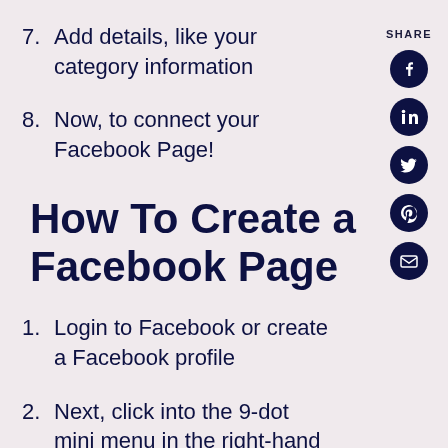7. Add details, like your category information
8. Now, to connect your Facebook Page!
How To Create a Facebook Page
1. Login to Facebook or create a Facebook profile
2. Next, click into the 9-dot mini menu in the right-hand corner of